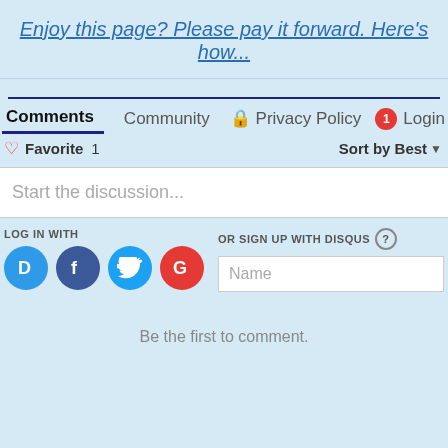Enjoy this page? Please pay it forward. Here's how...
Comments  Community  Privacy Policy  Login
Favorite 1  Sort by Best
Start the discussion...
LOG IN WITH
OR SIGN UP WITH DISQUS ?
Name
Be the first to comment.